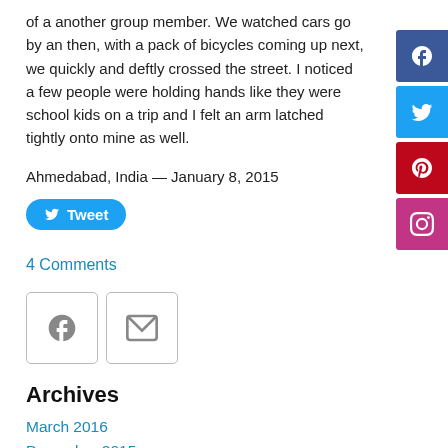of a another group member. We watched cars go by an then, with a pack of bicycles coming up next, we quickly and deftly crossed the street. I noticed a few people were holding hands like they were school kids on a trip and I felt an arm latched tightly onto mine as well.
Ahmedabad, India — January 8, 2015
[Figure (other): Tweet button (blue rounded rectangle with Twitter bird icon and 'Tweet' label)]
4 Comments
[Figure (other): Social share icons: Facebook (grey box with f) and Email (grey box with envelope)]
Archives
March 2016
December 2015
November 2015
May 2015
January 2015
[Figure (other): Right sidebar: vertical stack of social media icon buttons — Facebook (dark blue), Twitter (blue), Pinterest (red), Instagram (pink/purple)]